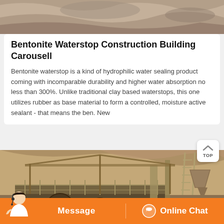[Figure (photo): Partial view of rocky soil / stone surface, cropped at top of page]
Bentonite Waterstop Construction Building Carousell
Bentonite waterstop is a kind of hydrophilic water sealing product coming with incomparable durability and higher water absorption no less than 300%. Unlike traditional clay based waterstops, this one utilizes rubber as base material to form a controlled, moisture active sealant - that means the ben. New
[Figure (photo): Industrial mining or quarry scene with heavy machinery, conveyor structures, ladders, and rocky hillside in background]
Message    Online Chat